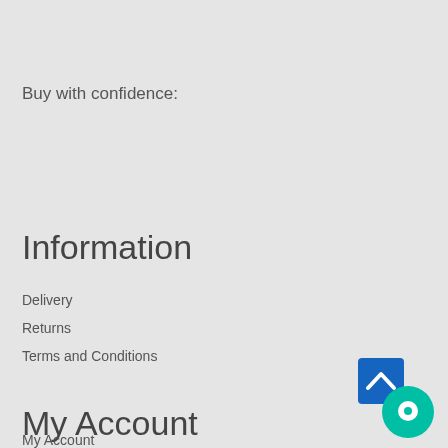Buy with confidence:
Information
Delivery
Returns
Terms and Conditions
My Account
My Account
[Figure (other): Chat/support widget icons: a blue square with upward chevron and a teal circle with chat bubble icon]